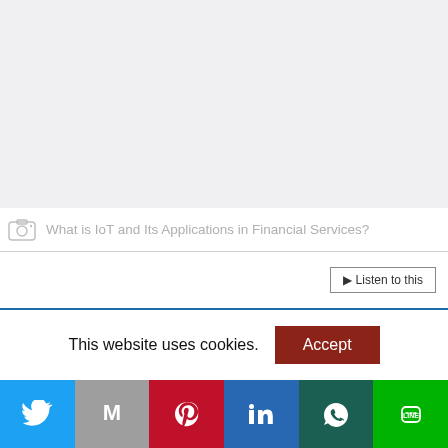[Figure (other): Blank light gray placeholder image area at the top of the page]
What is IoT and Its Applications in Financial Services?
Listen to this
This website uses cookies.
[Figure (other): Social media sharing bar with Twitter, Gmail, Pinterest, LinkedIn, WhatsApp, and LINE buttons]